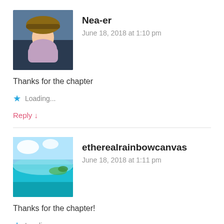[Figure (photo): Avatar of user Nea-er, anime-style character with hat]
Nea-er
June 18, 2018 at 1:10 pm
Thanks for the chapter
Loading...
Reply ↓
[Figure (photo): Avatar of user etherealrainbowcanvas, tropical beach with turquoise water]
etherealrainbowcanvas
June 18, 2018 at 1:11 pm
Thanks for the chapter!
Loading...